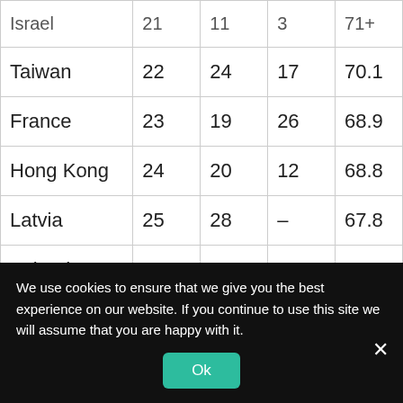| Country | Rank A | Rank B | Rank C | Score |
| --- | --- | --- | --- | --- |
| Israel | 21 | 11 | 3 | 71+ |
| Taiwan | 22 | 24 | 17 | 70.1 |
| France | 23 | 19 | 26 | 68.9 |
| Hong Kong | 24 | 20 | 12 | 68.8 |
| Latvia | 25 | 28 | – | 67.8 |
| Ireland | 26 | 22 | – | 65.8 |
| Czech Republic | 27 | – | – | 65.5 |
| Malaysia | 28 | 25 | 24 | 64.6 |
We use cookies to ensure that we give you the best experience on our website. If you continue to use this site we will assume that you are happy with it.